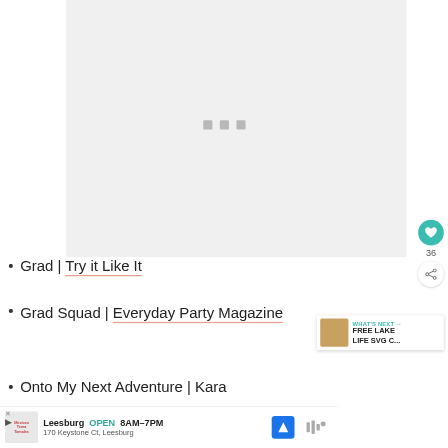[Figure (screenshot): Loading placeholder area with three gray squares centered, representing an image loading indicator on a white/light gray background]
Grad | Try it Like It
Grad Squad | Everyday Party Magazine
Onto My Next Adventure | Kara
[Figure (infographic): WHAT'S NEXT panel showing a thumbnail image of a tan/beige cup and text 'FREE LAKE LIFE SVG C...']
[Figure (infographic): Advertisement bar at bottom showing Leesburg OPEN 8AM-7PM, 170 Keystone Ct, Leesburg with map pin icon]